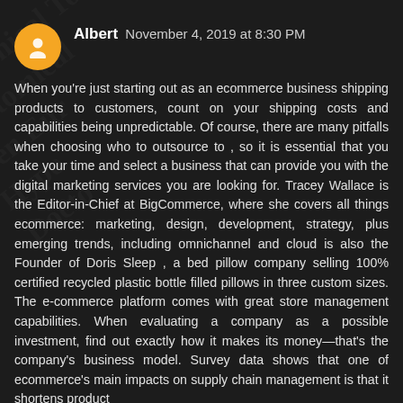Albert  November 4, 2019 at 8:30 PM
When you're just starting out as an ecommerce business shipping products to customers, count on your shipping costs and capabilities being unpredictable. Of course, there are many pitfalls when choosing who to outsource to , so it is essential that you take your time and select a business that can provide you with the digital marketing services you are looking for. Tracey Wallace is the Editor-in-Chief at BigCommerce, where she covers all things ecommerce: marketing, design, development, strategy, plus emerging trends, including omnichannel and cloud is also the Founder of Doris Sleep , a bed pillow company selling 100% certified recycled plastic bottle filled pillows in three custom sizes. The e-commerce platform comes with great store management capabilities. When evaluating a company as a possible investment, find out exactly how it makes its money—that's the company's business model. Survey data shows that one of ecommerce's main impacts on supply chain management is that it shortens product